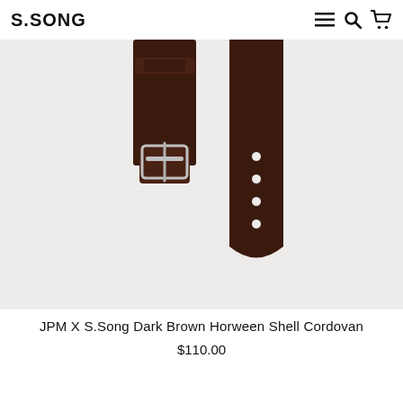S.SONG
[Figure (photo): Dark brown leather watch strap with silver buckle on a light gray background. The buckle end is shown on the left and the tail end with adjustment holes is shown on the right, both partially cropped from above.]
JPM X S.Song Dark Brown Horween Shell Cordovan
$110.00